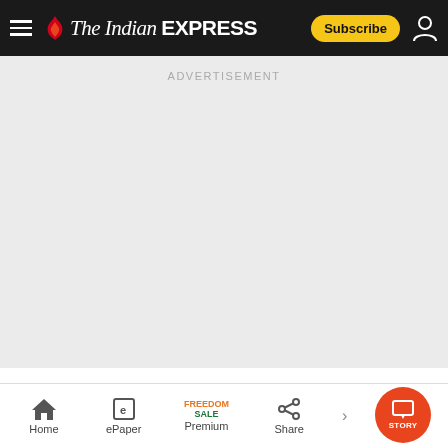The Indian EXPRESS — Subscribe
[Figure (screenshot): Advertisement placeholder area with light grey background and 'ADVERTISEMENT' label at top center]
“I am very comfortable that the strategic p…
Home | ePaper | Premium (FREEDOM SALE) | Share | STORY